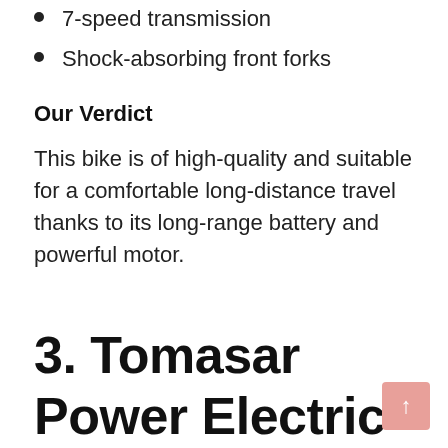7-speed transmission
Shock-absorbing front forks
Our Verdict
This bike is of high-quality and suitable for a comfortable long-distance travel thanks to its long-range battery and powerful motor.
3. Tomasar Power Electric Bike